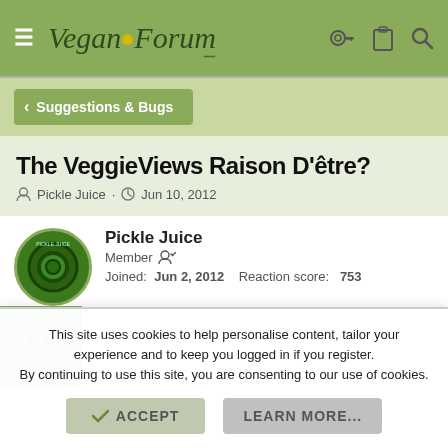VeganForum — navigation header with menu, logo, and icons
< Suggestions & Bugs
The VeggieViews Raison D'être?
Pickle Juice · Jun 10, 2012
Pickle Juice
Member
Joined: Jun 2, 2012   Reaction score: 753
This site uses cookies to help personalise content, tailor your experience and to keep you logged in if you register.
By continuing to use this site, you are consenting to our use of cookies.